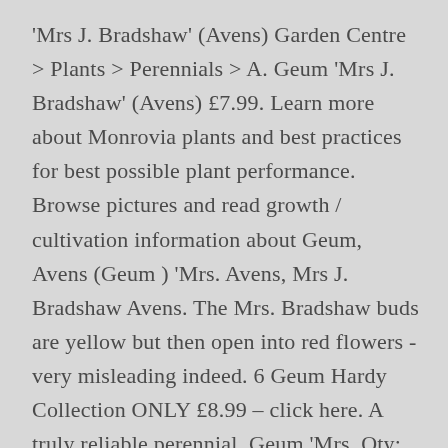'Mrs J. Bradshaw' (Avens) Garden Centre > Plants > Perennials > A. Geum 'Mrs J. Bradshaw' (Avens) £7.99. Learn more about Monrovia plants and best practices for best possible plant performance. Browse pictures and read growth / cultivation information about Geum, Avens (Geum ) 'Mrs. Avens, Mrs J. Bradshaw Avens. The Mrs. Bradshaw buds are yellow but then open into red flowers - very misleading indeed. 6 Geum Hardy Collection ONLY £8.99 – click here. A truly reliable perennial. Geum 'Mrs. Qty: Geum 'Mrs J. Bradshaw' at Kew Garden, London, UK. I took advantage of the offer, and though I had no idea what a Geum was, have loved them ever since. Neither have I ever seen 'Mrs J. Bradshaw'